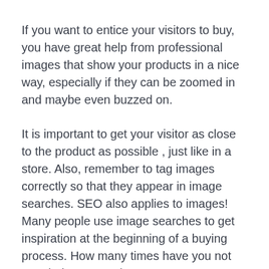If you want to entice your visitors to buy, you have great help from professional images that show your products in a nice way, especially if they can be zoomed in and maybe even buzzed on.
It is important to get your visitor as close to the product as possible , just like in a store. Also, remember to tag images correctly so that they appear in image searches. SEO also applies to images! Many people use image searches to get inspiration at the beginning of a buying process. How many times have you not googled your own image?
6.ANALYZE AND TEST TO GET EVEN BETTER